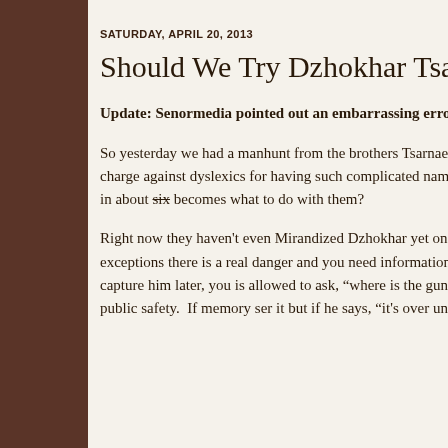SATURDAY, APRIL 20, 2013
Should We Try Dzhokhar Tsarnaev Fo
Update: Senormedia pointed out an embarrassing error.
So yesterday we had a manhunt from the brothers Tsarnaev, the capture of Dzhokhar.  (By the way, I am going to charge against dyslexics for having such complicated names to spe predict a baby boom arriving in the Boston area in about six becomes what to do with them?
Right now they haven't even Mirandized Dzhokhar yet on the emergency situation.  This is one of many, many exceptions there is a real danger and you need information now.  Like a guy clearly had a gun.  But when you capture him later, you is allowed to ask, "where is the gun?" without first Mirandi gun is an emergency matter of public safety.  If memory ser it but if he says, "it's over under the couch" then that statem trial.